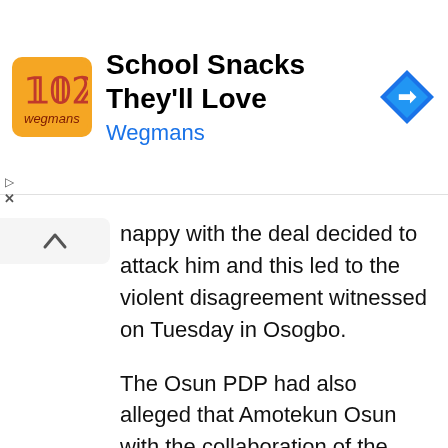[Figure (screenshot): Advertisement banner for Wegmans 'School Snacks They'll Love' with orange logo, Wegmans text in blue, and a blue navigation arrow icon on the right]
nappy with the deal decided to attack him and this led to the violent disagreement witnessed on Tuesday in Osogbo.
The Osun PDP had also alleged that Amotekun Osun with the collaboration of the Osun State Police Command was involved in the systematic killing of its members.
On Wednesday, June 15, 2022, the Amotekun Osun had denied allegations that it was responsible for the deaths of two individuals as a result of the attack on the private residence of